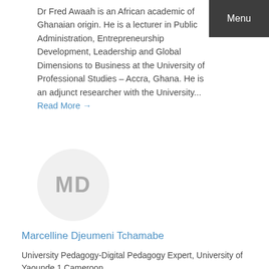Menu
Dr Fred Awaah is an African academic of Ghanaian origin. He is a lecturer in Public Administration, Entrepreneurship Development, Leadership and Global Dimensions to Business at the University of Professional Studies – Accra, Ghana. He is an adjunct researcher with the University... Read More →
[Figure (illustration): Avatar placeholder circle with initials MD in grey on light grey background]
Marcelline Djeumeni Tchamabe
University Pedagogy-Digital Pedagogy Expert, University of Yaounde 1 Cameroon